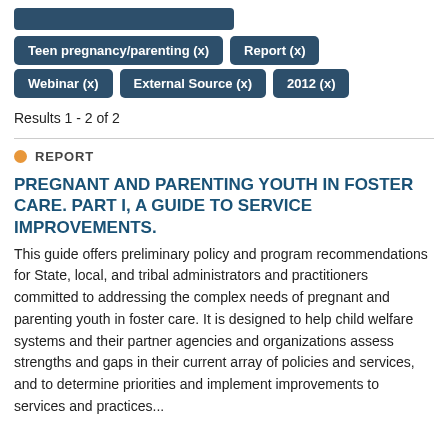Teen pregnancy/parenting (x)
Report (x)
Webinar (x)
External Source (x)
2012 (x)
Results 1 - 2 of 2
REPORT
PREGNANT AND PARENTING YOUTH IN FOSTER CARE. PART I, A GUIDE TO SERVICE IMPROVEMENTS.
This guide offers preliminary policy and program recommendations for State, local, and tribal administrators and practitioners committed to addressing the complex needs of pregnant and parenting youth in foster care. It is designed to help child welfare systems and their partner agencies and organizations assess strengths and gaps in their current array of policies and services, and to determine priorities and implement improvements to services and practices...